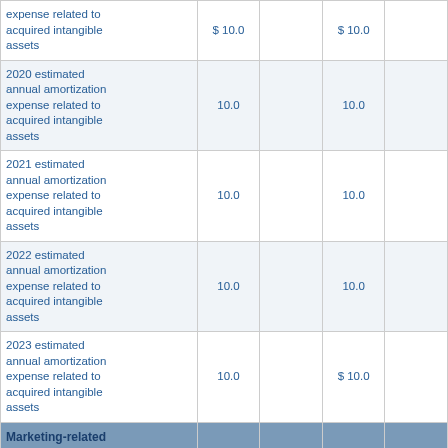|  |  |  |  |  |
| --- | --- | --- | --- | --- |
| expense related to acquired intangible assets | $ 10.0 |  | $ 10.0 |  |
| 2020 estimated annual amortization expense related to acquired intangible assets | 10.0 |  | 10.0 |  |
| 2021 estimated annual amortization expense related to acquired intangible assets | 10.0 |  | 10.0 |  |
| 2022 estimated annual amortization expense related to acquired intangible assets | 10.0 |  | 10.0 |  |
| 2023 estimated annual amortization expense related to acquired intangible assets | 10.0 |  | $ 10.0 |  |
| Marketing-related intangible assets |  |  |  |  |